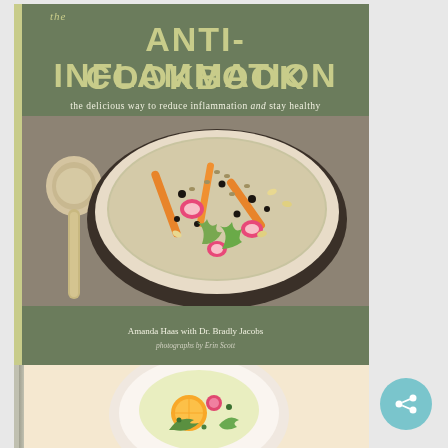[Figure (photo): Book cover of 'the Anti-Inflammation Cookbook' by Amanda Haas with Dr. Bradly Jacobs, photographs by Erin Scott. Cover shows a bowl of grain salad with carrots, radishes, herbs, and a wooden spoon. Yellow-green spine and title text on a dark muted background.]
[Figure (photo): Partial view of a second book image at the bottom showing a salad with citrus and vegetables on a light background.]